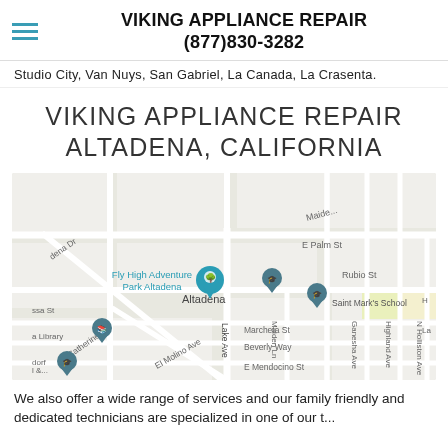VIKING APPLIANCE REPAIR (877)830-3282
Studio City, Van Nuys, San Gabriel, La Canada, La Crasenta.
VIKING APPLIANCE REPAIR ALTADENA, CALIFORNIA
[Figure (map): Google Maps view of Altadena, California area showing streets including E Palm St, Rubio St, Lake Ave, El Molino Ave, Catherine Rd, Maiden Ln, Ganesha Ave, Highland Ave, N Holliston Ave, Marcheta St, Beverly Way, E Mendocino St, and landmarks including Fly High Adventure Park Altadena, Saint Mark's School, a Library, and other pins.]
We also offer a wide range of services and our family friendly and dedicated technicians are specialized in one of our t...